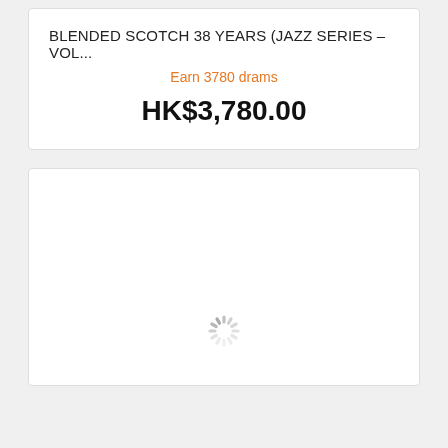BLENDED SCOTCH 38 YEARS (JAZZ SERIES – VOL....
Earn 3780 drams
HK$3,780.00
[Figure (other): Loading spinner / throbber icon in light gray]